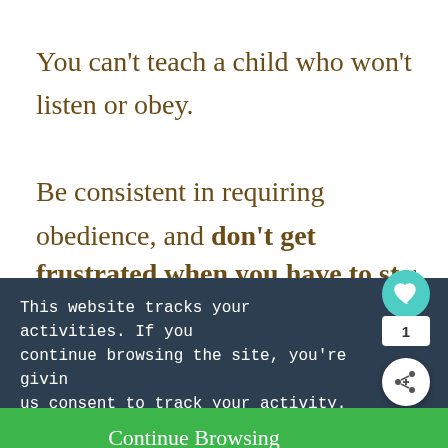You can't teach a child who won't listen or obey.

Be consistent in requiring obedience, and don't get frustrated when you have to stop
This website tracks your activities. If you continue browsing the site, you're giving us consent to track your activity.
Continue Browsing
WHAT'S NEXT → 6 Causes of Frustration i...